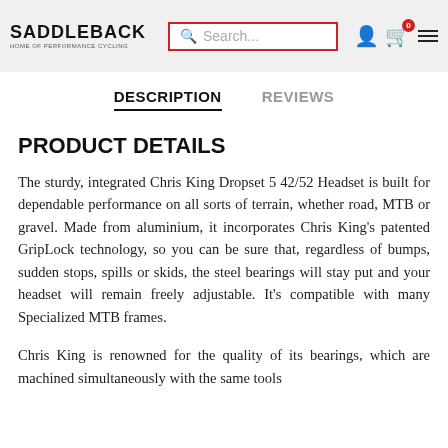SADDLEBACK HOME OF PERFORMANCE CYCLING — Search — [user icon] [cart icon] [menu icon]
DESCRIPTION
REVIEWS
PRODUCT DETAILS
The sturdy, integrated Chris King Dropset 5 42/52 Headset is built for dependable performance on all sorts of terrain, whether road, MTB or gravel. Made from aluminium, it incorporates Chris King's patented GripLock technology, so you can be sure that, regardless of bumps, sudden stops, spills or skids, the steel bearings will stay put and your headset will remain freely adjustable. It's compatible with many Specialized MTB frames.
Chris King is renowned for the quality of its bearings, which are machined simultaneously with the same tools